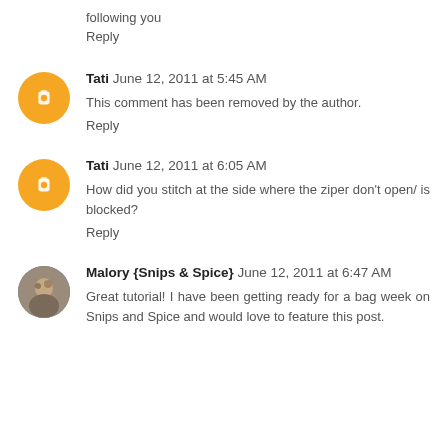following you
Reply
Tati June 12, 2011 at 5:45 AM
This comment has been removed by the author.
Reply
Tati June 12, 2011 at 6:05 AM
How did you stitch at the side where the ziper don't open/ is blocked?
Reply
Malory {Snips & Spice} June 12, 2011 at 6:47 AM
Great tutorial! I have been getting ready for a bag week on Snips and Spice and would love to feature this post.